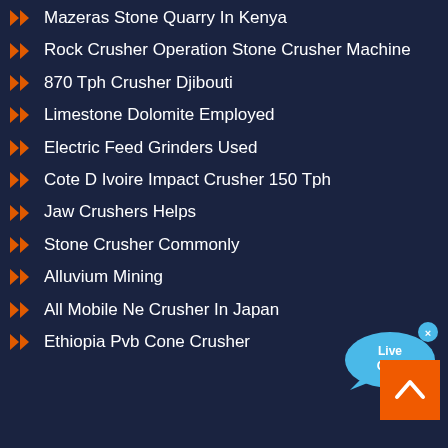Mazeras Stone Quarry In Kenya
Rock Crusher Operation Stone Crusher Machine
870 Tph Crusher Djibouti
Limestone Dolomite Employed
Electric Feed Grinders Used
Cote D Ivoire Impact Crusher 150 Tph
Jaw Crushers Helps
Stone Crusher Commonly
Alluvium Mining
All Mobile Ne Crusher In Japan
Ethiopia Pvb Cone Crusher
[Figure (illustration): Live Chat button with blue speech bubble icon and 'x' close button, displaying 'Live Chat' text]